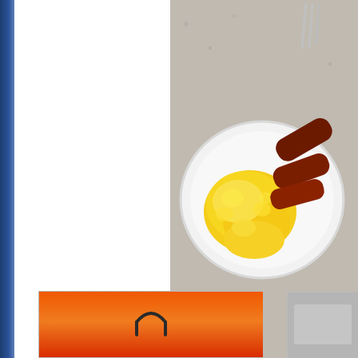[Figure (photo): A white plate with scrambled eggs and beef sausages on a granite countertop, with a fork visible at the top right.]
Scrambled Egg, Beef Sausage, ...
Scrambled Eggs
1x Beef Sausage
Chicken Livers
Lasted: 5+ hours    (ate just after 08h00 and had Lunch just before...
Example #5:
[Figure (photo): Orange/red colored package or sunset image with a hook or hanger visible in the center.]
[Figure (photo): Partially visible image on the right edge.]